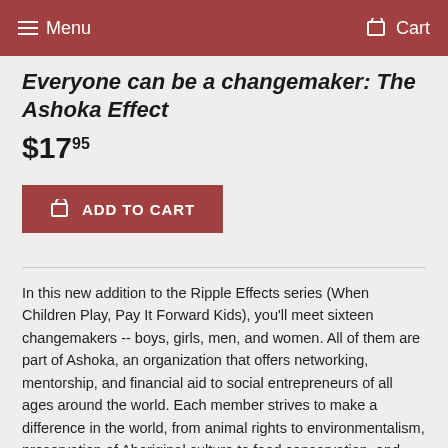Menu   Cart
Everyone can be a changemaker: The Ashoka Effect
$17.95
ADD TO CART
In this new addition to the Ripple Effects series (When Children Play, Pay It Forward Kids), you'll meet sixteen changemakers -- boys, girls, men, and women. All of them are part of Ashoka, an organization that offers networking, mentorship, and financial aid to social entrepreneurs of all ages around the world. Each member strives to make a difference in the world, from animal rights to environmentalism, preservation of Aboriginal culture to food conservation, and you'll learn about how they've made global changes, the challenges they faced, and how you can